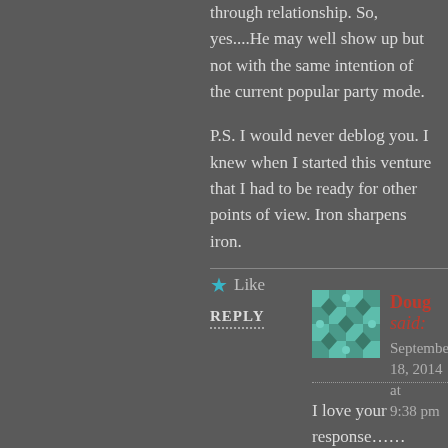through relationship. So, yes....He may well show up but not with the same intention of the current popular party mode.
P.S. I would never deblog you. I knew when I started this venture that I had to be ready for other points of view. Iron sharpens iron.
Like
REPLY
Doug said:
September 18, 2014 at 9:38 pm
I love your response....... you see, I hate that I have taken the Spirit of